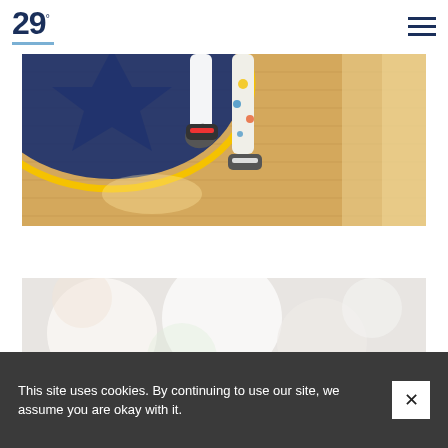29
[Figure (photo): Close-up photo of a basketball player's legs running on a hardwood court with blue and yellow logo markings, wearing colorful patterned socks and sneakers]
[Figure (photo): Blurred/bokeh photo of an indoor space, light and bright tones]
This site uses cookies. By continuing to use our site, we assume you are okay with it.